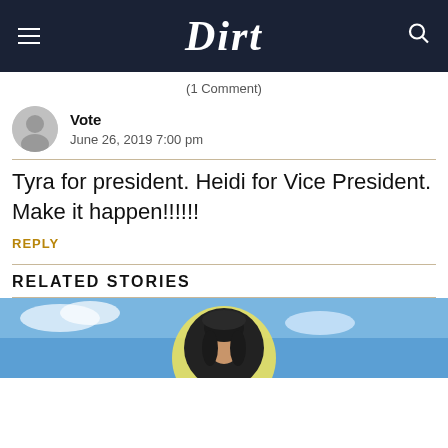Dirt
(1 Comment)
Vote
June 26, 2019 7:00 pm
Tyra for president. Heidi for Vice President. Make it happen!!!!!!
REPLY
RELATED STORIES
[Figure (photo): Related story thumbnail image showing a woman with dark hair against a blue sky background]